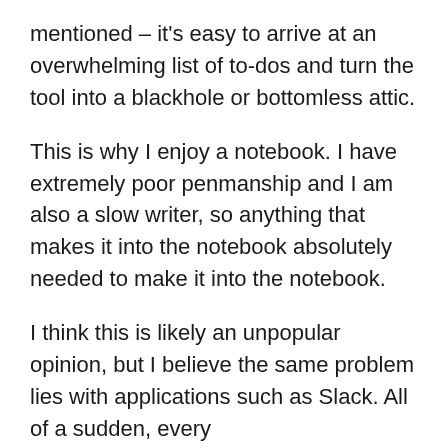mentioned – it's easy to arrive at an overwhelming list of to-dos and turn the tool into a blackhole or bottomless attic.
This is why I enjoy a notebook. I have extremely poor penmanship and I am also a slow writer, so anything that makes it into the notebook absolutely needed to make it into the notebook.
I think this is likely an unpopular opinion, but I believe the same problem lies with applications such as Slack. All of a sudden, every question/comment/thought becomes urgent, important and disruptive. There are many occasions where Slack enables us to interrupt someone else for information we normally could retrieve – and perhaps better understand – after